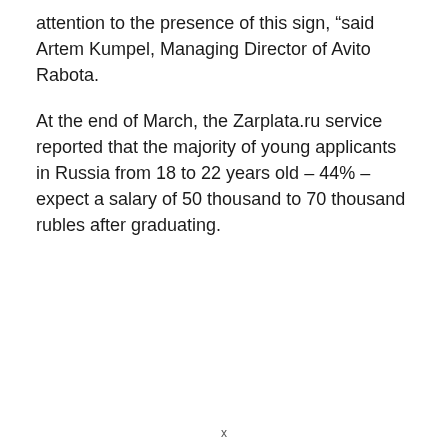attention to the presence of this sign, “said Artem Kumpel, Managing Director of Avito Rabota.
At the end of March, the Zarplata.ru service reported that the majority of young applicants in Russia from 18 to 22 years old – 44% – expect a salary of 50 thousand to 70 thousand rubles after graduating.
x